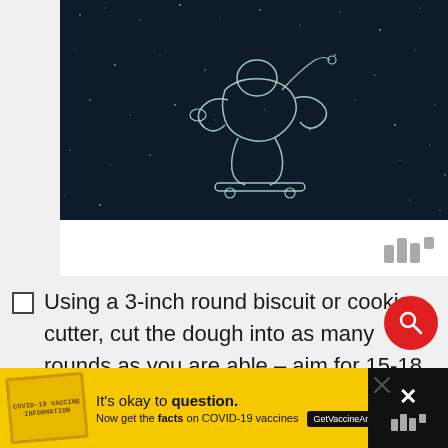[Figure (illustration): Dark navy/black space background with white dots (stars) and a white line-art illustration of an astronaut or space figure floating/skateboarding in space]
Using a 3-inch round biscuit or cookie cutter, cut the dough into as many rounds as you are able – aim for 15-18 the first time, 10-12 the second. Simply collect the scraps, gently knead then to form a ball, chill for 15 minutes, then re-roll and cut the remaining rounds.
[Figure (infographic): Yellow advertisement banner at bottom: 'It's okay to question. Now get the facts on COVID-19 vaccines GetVaccineAnswers.org' with a stamp graphic and close button]